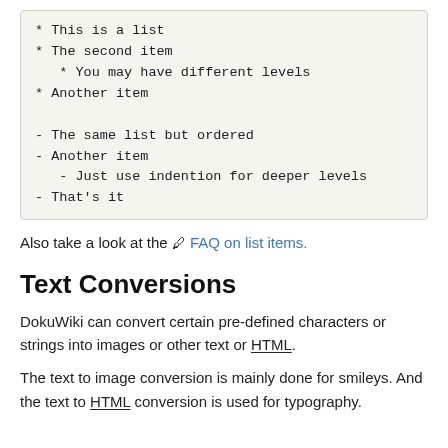* This is a list
* The second item
   * You may have different levels
* Another item

- The same list but ordered
- Another item
   - Just use indention for deeper levels
- That's it
Also take a look at the 🖊 FAQ on list items.
Text Conversions
DokuWiki can convert certain pre-defined characters or strings into images or other text or HTML.
The text to image conversion is mainly done for smileys. And the text to HTML conversion is used for typography.